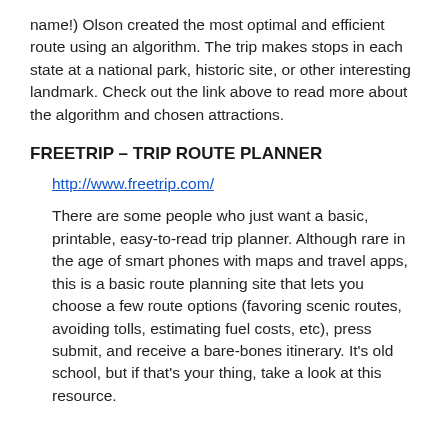name!) Olson created the most optimal and efficient route using an algorithm.  The trip makes stops in each state at a national park, historic site, or other interesting landmark.  Check out the link above to read more about the algorithm and chosen attractions.
FREETRIP – TRIP ROUTE PLANNER
http://www.freetrip.com/
There are some people who just want a basic, printable, easy-to-read trip planner.  Although rare in the age of smart phones with maps and travel apps, this is a basic route planning site that lets you choose a few route options (favoring scenic routes, avoiding tolls, estimating fuel costs, etc), press submit, and receive a bare-bones itinerary.  It's old school, but if that's your thing, take a look at this resource.